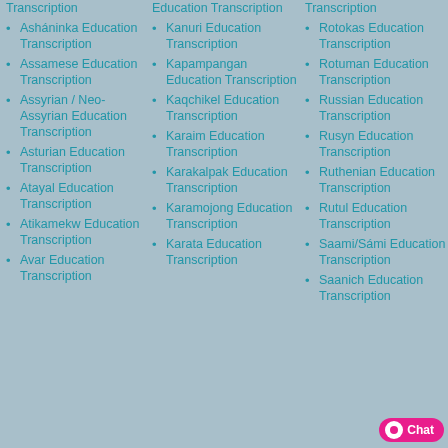Transcription
Asháninka Education Transcription
Assamese Education Transcription
Assyrian / Neo-Assyrian Education Transcription
Asturian Education Transcription
Atayal Education Transcription
Atikamekw Education Transcription
Avar Education Transcription
Education Transcription
Kanuri Education Transcription
Kapampangan Education Transcription
Kaqchikel Education Transcription
Karaim Education Transcription
Karakalpak Education Transcription
Karamojong Education Transcription
Karata Education Transcription
Transcription
Rotokas Education Transcription
Rotuman Education Transcription
Russian Education Transcription
Rusyn Education Transcription
Ruthenian Education Transcription
Rutul Education Transcription
Saami/Sámi Education Transcription
Saanich Education Transcription